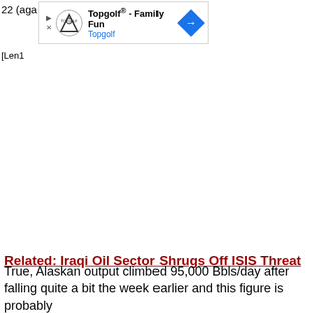22 (aga
[Figure (other): Topgolf advertisement banner with logo, title 'Topgolf® - Family Fun', subtitle 'Topgolf', and navigation arrow icon]
[Figure (other): Broken image placeholder labeled Len1]
Related: Iraqi Oil Sector Shrugs Off ISIS Threat
True, Alaskan output climbed 95,000 Bbls/day after falling quite a bit the week earlier and this figure is probably